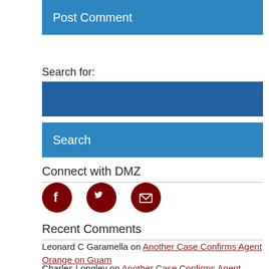Post Comment
Search for:
Search
Connect with DMZ
[Figure (other): Social media icons: Facebook, Twitter, Email (dark red circles)]
Recent Comments
Leonard C Garamella on Another Case Confirms Agent Orange on Guam
Charles Longley on Another Case Confirms Agent